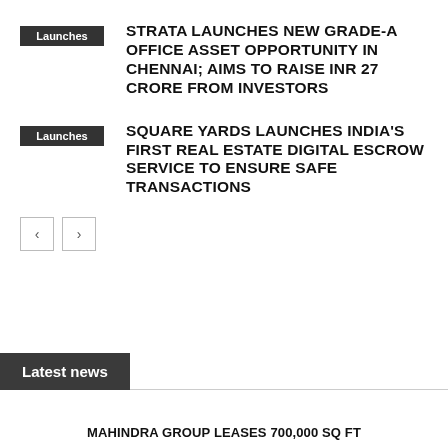Launches — STRATA LAUNCHES NEW GRADE-A OFFICE ASSET OPPORTUNITY IN CHENNAI; AIMS TO RAISE INR 27 CRORE FROM INVESTORS
Launches — SQUARE YARDS LAUNCHES INDIA'S FIRST REAL ESTATE DIGITAL ESCROW SERVICE TO ENSURE SAFE TRANSACTIONS
Latest news
MAHINDRA GROUP LEASES 700,000 SQ FT